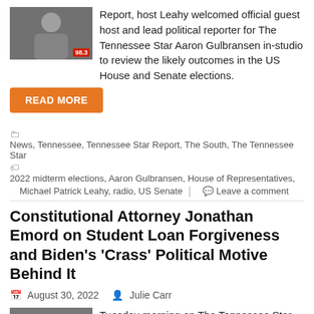Report, host Leahy welcomed official guest host and lead political reporter for The Tennessee Star Aaron Gulbransen in-studio to review the likely outcomes in the US House and Senate elections.
READ MORE
News, Tennessee, Tennessee Star Report, The South, The Tennessee Star
2022 midterm elections, Aaron Gulbransen, House of Representatives, Michael Patrick Leahy, radio, US Senate
Leave a comment
Constitutional Attorney Jonathan Emord on Student Loan Forgiveness and Biden's 'Crass' Political Motive Behind It
August 30, 2022   Julie Carr
Tuesday morning on The Tennessee Star Report, host Leahy welcomed constitutional attorney Jonathan Emord to the newsmaker